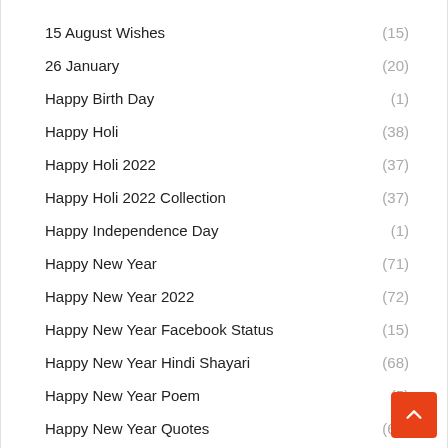15 August Wishes (15)
26 January (20)
Happy Birth Day (1)
Happy Holi (38)
Happy Holi 2022 (37)
Happy Holi 2022 Collection (37)
Happy Independence Day (1)
Happy New Year (71)
Happy New Year 2022 (72)
Happy New Year Facebook Status (15)
Happy New Year Hindi Shayari (68)
Happy New Year Poem (5)
Happy New Year Quotes (63)
Happy New Year Shayari (65)
Happy New Year Shubhkamnaye (67)